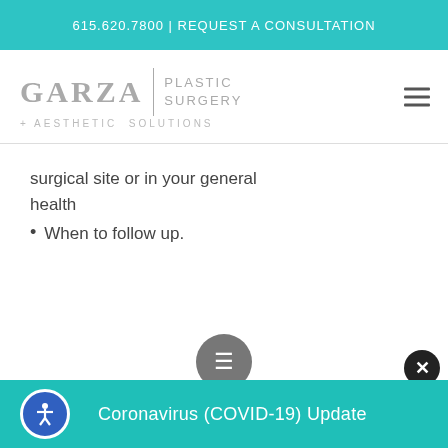615.620.7800 | REQUEST A CONSULTATION
[Figure (logo): Garza Plastic Surgery + Aesthetic Solutions logo with teal and grey text]
surgical site or in your general health
When to follow up.
Coronavirus (COVID-19) Update